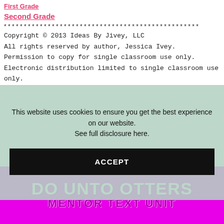First Grade
Second Grade
****************************************************
Copyright © 2013 Ideas By Jivey, LLC
All rights reserved by author, Jessica Ivey.
Permission to copy for single classroom use only.
Electronic distribution limited to single classroom use only.
This website uses cookies to ensure you get the best experience on our website.
See full disclosure here.
ACCEPT
[Figure (other): Magenta banner with white bold text reading 'DO UNTO OTTERS' and purple subtitle text reading 'MENTOR TEXT UNIT']